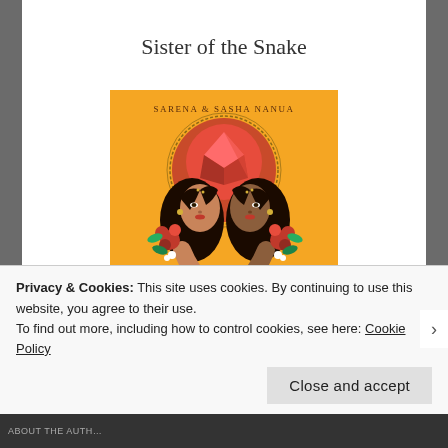Sister of the Snake
[Figure (illustration): Book cover of 'Sisters of the Snake' by Sarena & Sasha Nanua. Orange background with two South Asian women facing each other forming a heart shape with their hair, surrounded by red flowers and a red jewel/sun mandala motif at top. White decorative text reads 'SISTERS OF THE SNAKE' with 'OF THE' in smaller letters.]
Privacy & Cookies: This site uses cookies. By continuing to use this website, you agree to their use.
To find out more, including how to control cookies, see here: Cookie Policy
Close and accept